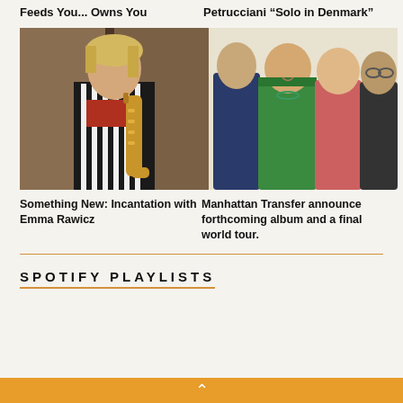Feeds You... Owns You
Petrucciani “Solo in Denmark”
[Figure (photo): Young woman holding a saxophone, wearing a striped outfit, standing in front of an elevator or metallic background]
[Figure (photo): Group of four people posing together, one wearing a bright green jacket]
Something New: Incantation with Emma Rawicz
Manhattan Transfer announce forthcoming album and a final world tour.
SPOTIFY PLAYLISTS